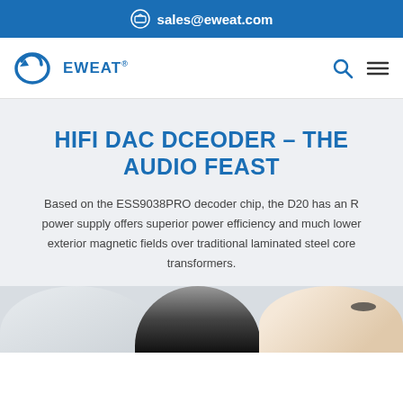sales@eweat.com
[Figure (logo): EWEAT logo with blue circular arrow icon and EWEAT text with registered trademark symbol]
HIFI DAC DCEODER – THE AUDIO FEAST
Based on the ESS9038PRO decoder chip, the D20 has an R power supply offers superior power efficiency and much lower exterior magnetic fields over traditional laminated steel core transformers.
[Figure (photo): Photo of a person wearing headphones, showing close-up of headphones and part of a face/eye]